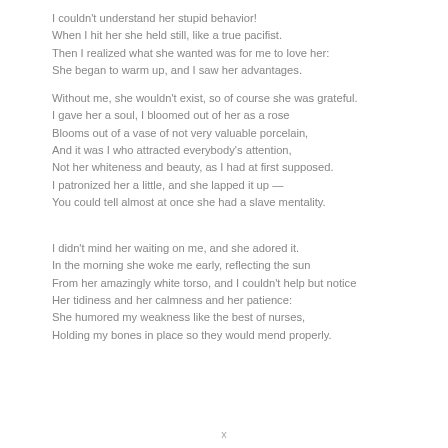I couldn't understand her stupid behavior!
When I hit her she held still, like a true pacifist.
Then I realized what she wanted was for me to love her:
She began to warm up, and I saw her advantages.
Without me, she wouldn't exist, so of course she was grateful.
I gave her a soul, I bloomed out of her as a rose
Blooms out of a vase of not very valuable porcelain,
And it was I who attracted everybody's attention,
Not her whiteness and beauty, as I had at first supposed.
I patronized her a little, and she lapped it up —
You could tell almost at once she had a slave mentality.
I didn't mind her waiting on me, and she adored it.
In the morning she woke me early, reflecting the sun
From her amazingly white torso, and I couldn't help but notice
Her tidiness and her calmness and her patience:
She humored my weakness like the best of nurses,
Holding my bones in place so they would mend properly.
x